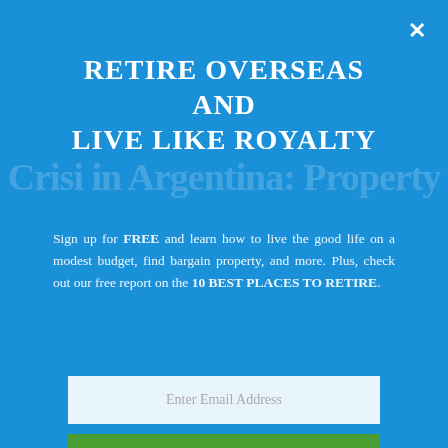RETIRE OVERSEAS AND LIVE LIKE ROYALTY
Sign up for FREE and learn how to live the good life on a modest budget, find bargain property, and more. Plus, check out our free report on the 10 BEST PLACES TO RETIRE.
Enter Email Address
SEND MY FREE REPORT